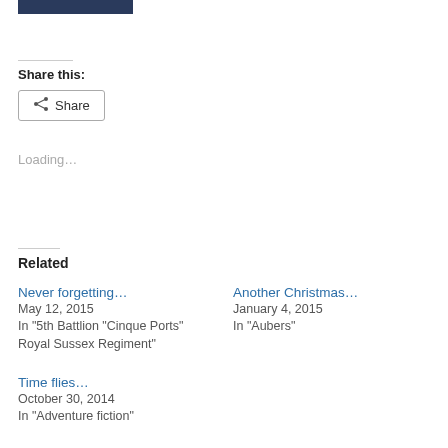[Figure (photo): Top portion of a dark blue image, partially visible at top of page]
Share this:
Share
Loading…
Related
Never forgetting…
May 12, 2015
In "5th Battlion "Cinque Ports" Royal Sussex Regiment"
Another Christmas…
January 4, 2015
In "Aubers"
Time flies…
October 30, 2014
In "Adventure fiction"